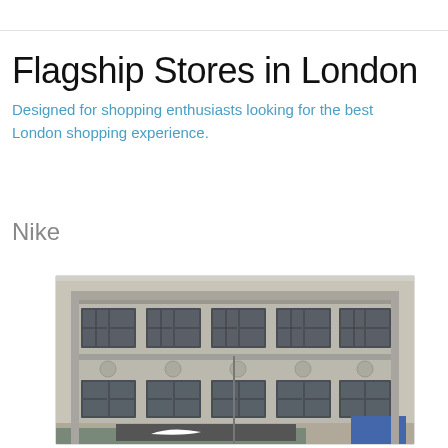Flagship Stores in London
Designed for shopping enthusiasts looking for the best London shopping experience.
Nike
[Figure (photo): Exterior photograph of a classic European-style stone building housing a Nike flagship store in London, showing ornate architecture with large windows and a Nike logo visible at street level.]